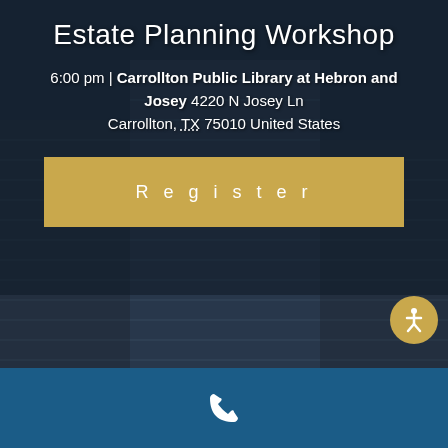Estate Planning Workshop
6:00 pm | Carrollton Public Library at Hebron and Josey 4220 N Josey Ln Carrollton, TX 75010 United States
[Figure (other): Golden 'Register' button with letter-spaced text]
[Figure (other): Dark city building background with skyscrapers]
[Figure (other): Gold accessibility icon circle with person/wheelchair symbol, positioned right side]
[Figure (other): Blue footer bar with white phone icon]